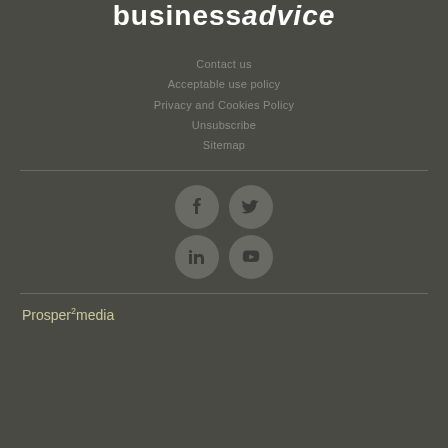BusinessAdvice
Contact us
Acceptable use policy
Privacy and Cookies Policy
Unsubscribe
Sitemap
[Figure (other): Social media icons: Facebook, Twitter, LinkedIn, YouTube in circular grey buttons]
Prosper² media